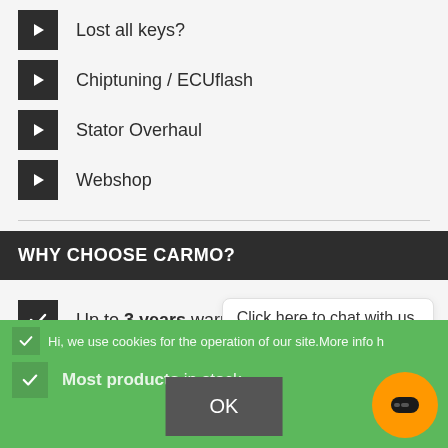Lost all keys?
Chiptuning / ECUflash
Stator Overhaul
Webshop
WHY CHOOSE CARMO?
Up to 3 years warranty
Fixed repair prices
Click here to chat with us.
Hi, we use cookies for the operation of our site. More info h…
OK
Most products in stock